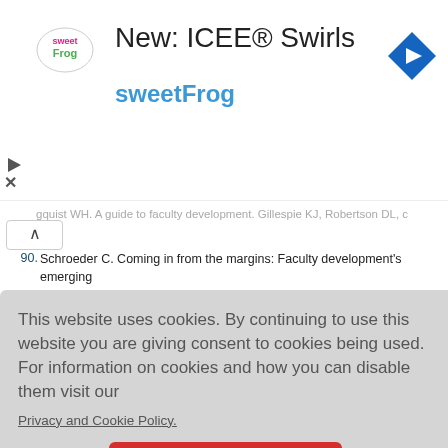[Figure (screenshot): sweetFrog advertisement banner with logo, text 'New: ICEE® Swirls', 'sweetFrog', and navigation icon]
gquist WH. A guide to faculty development. Gillespie KJ, Robertson DL, c...
90. Schroeder C. Coming in from the margins: Faculty development's emerging organizational identity and roles. Sterling, VA: Stylus Publishing, LLC.; 2012. ↑
This website uses cookies. By continuing to use this website you are giving consent to cookies being used. For information on cookies and how you can disable them visit our
Privacy and Cookie Policy.
AGREE & PROCEED
This article has been cited by